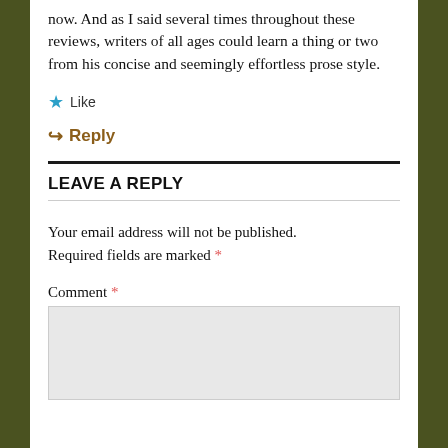now. And as I said several times throughout these reviews, writers of all ages could learn a thing or two from his concise and seemingly effortless prose style.
★ Like
↳ Reply
LEAVE A REPLY
Your email address will not be published. Required fields are marked *
Comment *